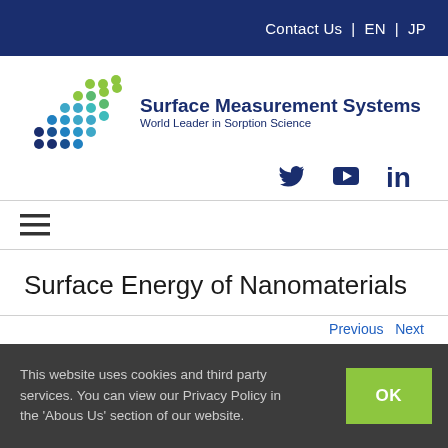Contact Us | EN | JP
[Figure (logo): Surface Measurement Systems logo with dot-pattern icon and text 'Surface Measurement Systems — World Leader in Sorption Science']
[Figure (other): Social media icons: Twitter, YouTube, LinkedIn]
[Figure (other): Hamburger menu icon (three horizontal lines)]
Surface Energy of Nanomaterials
Previous | Next
This website uses cookies and third party services. You can view our Privacy Policy in the 'Abous Us' section of our website.